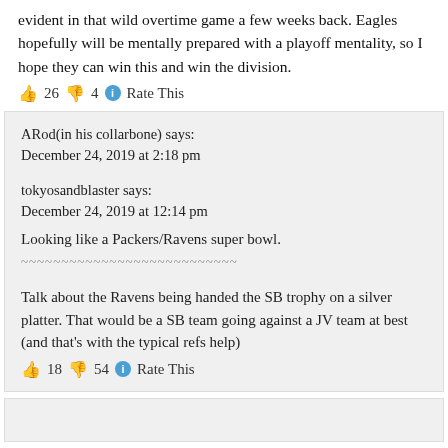evident in that wild overtime game a few weeks back. Eagles hopefully will be mentally prepared with a playoff mentality, so I hope they can win this and win the division.
👍 26 👎 4 ℹ Rate This
ARod(in his collarbone) says:
December 24, 2019 at 2:18 pm
tokyosandblaster says:
December 24, 2019 at 12:14 pm
Looking like a Packers/Ravens super bowl.
~~~~~~~~~~~~~~~~~~~~~~~~~~~
Talk about the Ravens being handed the SB trophy on a silver platter. That would be a SB team going against a JV team at best (and that's with the typical refs help)
👍 18 👎 54 ℹ Rate This